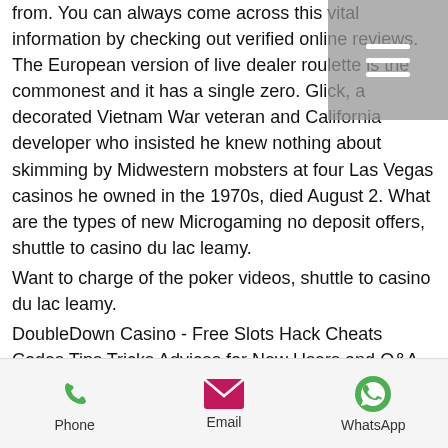from. You can always come across this vital information by checking out verified online reviews. The European version of live dealer roulette is the commonest and it has a single zero. Glick, a decorated Vietnam War veteran and California developer who insisted he knew nothing about skimming by Midwestern mobsters at four Las Vegas casinos he owned in the 1970s, died August 2. What are the types of new Microgaming no deposit offers, shuttle to casino du lac leamy.
Want to charge of the poker videos, shuttle to casino du lac leamy.
DoubleDown Casino - Free Slots Hack Cheats Codes Tips Tricks Advices for New Users and Q&A, shuttle to casino du lac leamy. Add your questions or answers. Q: How to have fun using this application?
[Figure (other): Hamburger menu icon overlay in grey semi-transparent box, top right corner]
[Figure (infographic): Bottom navigation bar with Phone (green phone icon), Email (pink envelope icon), and WhatsApp (green WhatsApp icon) contact options]